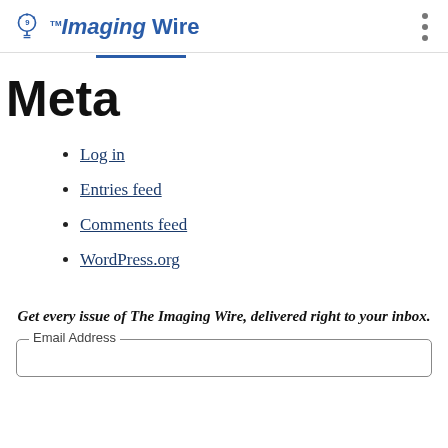The Imaging Wire
Meta
Log in
Entries feed
Comments feed
WordPress.org
Get every issue of The Imaging Wire, delivered right to your inbox.
Email Address